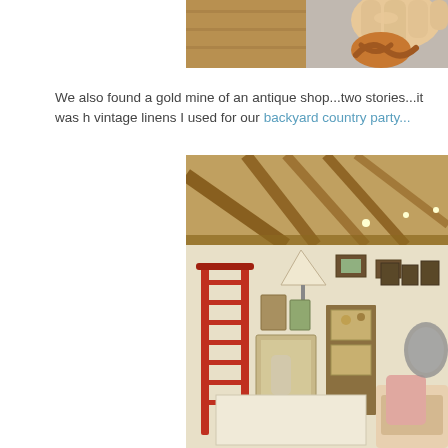[Figure (photo): Close-up photo of a hand holding what appears to be a pretzel or baked good, cropped at top of page, partially visible]
We also found a gold mine of an antique shop...two stories...it was h vintage linens I used for our backyard country party...
[Figure (photo): Interior of an antique shop with wooden beam ceiling, red ladder-back chair prominently in foreground, various antiques, furniture, lamps, framed pictures, and collectibles filling the large two-story space]